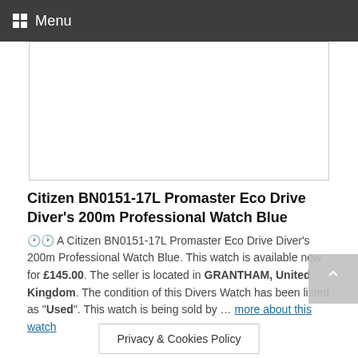Menu
[Figure (other): White advertisement/image placeholder box with border]
Citizen BN0151-17L Promaster Eco Drive Diver's 200m Professional Watch Blue
A Citizen BN0151-17L Promaster Eco Drive Diver's 200m Professional Watch Blue. This watch is available now for £145.00. The seller is located in GRANTHAM, United Kingdom. The condition of this Divers Watch has been listed as "Used". This watch is being sold by … more about this watch
Privacy & Cookies Policy